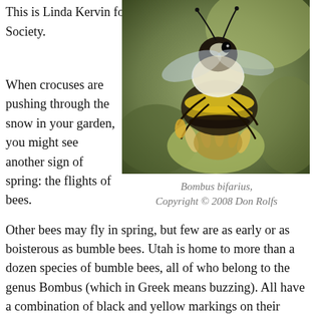This is Linda Kervin for Bridgerland Audubon Society.
[Figure (photo): Close-up photograph of a Bombus bifarius (bumble bee) on a flower, showing black and white/yellow fuzzy body against a blurred green background.]
Bombus bifarius, Copyright © 2008 Don Rolfs
When crocuses are pushing through the snow in your garden, you might see another sign of spring: the flights of bees. Other bees may fly in spring, but few are as early or as boisterous as bumble bees. Utah is home to more than a dozen species of bumble bees, all of who belong to the genus Bombus (which in Greek means buzzing). All have a combination of black and yellow markings on their bodies. Some also have orange bands. Unlike honey bees that pass the winter warmly clustered